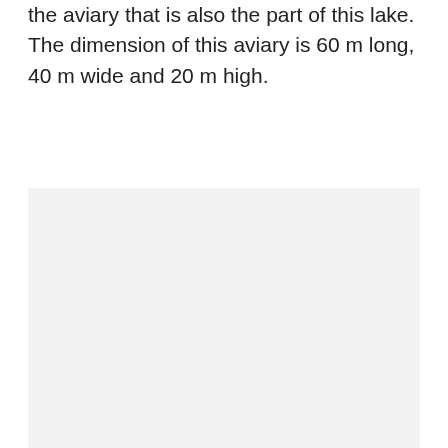the aviary that is also the part of this lake. The dimension of this aviary is 60 m long, 40 m wide and 20 m high.
[Figure (photo): A large light gray rectangular image placeholder occupying the lower portion of the page.]